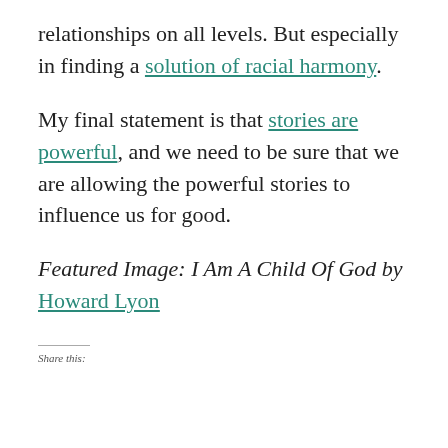relationships on all levels. But especially in finding a solution of racial harmony.
My final statement is that stories are powerful, and we need to be sure that we are allowing the powerful stories to influence us for good.
Featured Image: I Am A Child Of God by Howard Lyon
Share this: